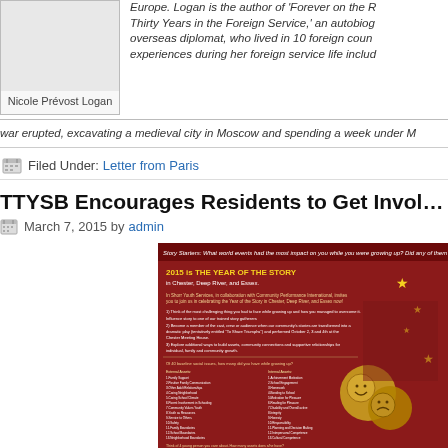[Figure (photo): Author photo placeholder box for Nicole Prévost Logan with name caption below]
Europe. Logan is the author of 'Forever on the R… Thirty Years in the Foreign Service,' an autobiog… overseas diplomat, who lived in 10 foreign coun… experiences during her foreign service life includ… war erupted, excavating a medieval city in Moscow and spending a week under M…
Filed Under: Letter from Paris
TTYSB Encourages Residents to Get Involved in the…
March 7, 2015 by admin
[Figure (photo): Flyer for 2015 Year of the Story in Chester, Deep River, and Essex — dark red background with text, lists, comedy/tragedy masks graphic]